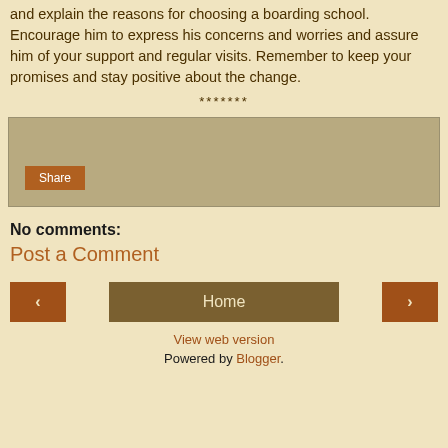and explain the reasons for choosing a boarding school. Encourage him to express his concerns and worries and assure him of your support and regular visits. Remember to keep your promises and stay positive about the change.
*******
[Figure (screenshot): Social share widget box with a Share button]
No comments:
Post a Comment
[Figure (screenshot): Navigation buttons: back arrow, Home, forward arrow]
View web version
Powered by Blogger.